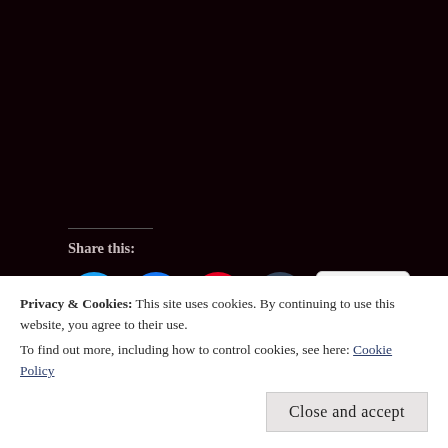New ad created August 19, 2020.
Share this:
[Figure (other): Social share buttons: Twitter (blue circle), Facebook (blue circle), Pinterest (red circle), Tumblr (dark teal circle), and a More button]
Loading...
Privacy & Cookies: This site uses cookies. By continuing to use this website, you agree to their use.
To find out more, including how to control cookies, see here: Cookie Policy
Close and accept